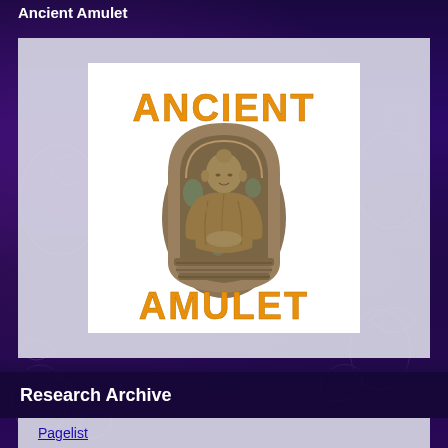Ancient Amulet
[Figure (logo): Ancient Amulet logo: a bronze/clay Buddhist amulet tablet with a seated Buddha figure, overlaid with the text 'ANCIENT AMULET' in orange decorative lettering on a white background]
Research Archive
Pagelist